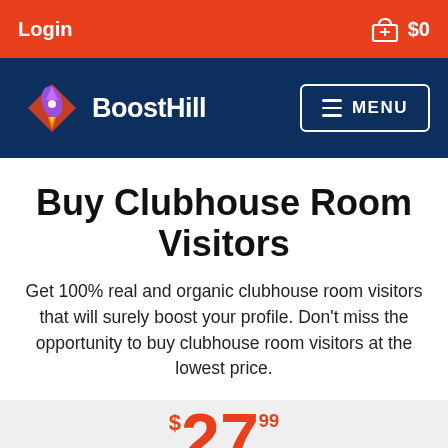Login   $0
[Figure (logo): BoostHill logo with rocket icon and navigation menu button]
Buy Clubhouse Room Visitors
Get 100% real and organic clubhouse room visitors that will surely boost your profile. Don't miss the opportunity to buy clubhouse room visitors at the lowest price.
$27.99